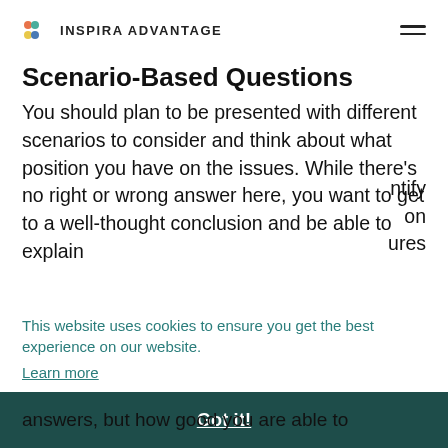INSPIRA ADVANTAGE
Scenario-Based Questions
You should plan to be presented with different scenarios to consider and think about what position you have on the issues. While there's no right or wrong answer here, you want to get to a well-thought conclusion and be able to explain
This website uses cookies to ensure you get the best experience on our website. Learn more
ntify on ures
Got it!
answers, but how good you are able to articulate